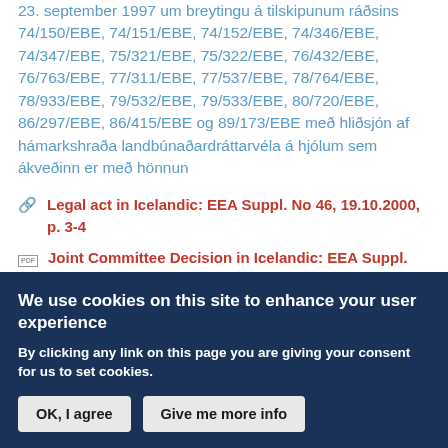23. september 1997 um breytingu á tilskipunum ráðsins 74/150/EBE, 74/151/EBE, 74/152/EBE, 74/346/EBE, 74/347/EBE, 75/321/EBE, 75/322/EBE, 76/432/EBE, 76/763/EBE, 77/311/EBE, 77/537/EBE, 78/764/EBE, 78/933/EBE, 79/532/EBE, 79/533/EBE, 80/720/EBE, 86/297/EBE, 86/415/EBE og 89/173/EBE með hliðsjón af hámarkshraða landbúnaðardráttarvéla á hjólum sem ákveðinn er með hönnun
Legal act in Icelandic: EEA Suppl. No 46, 19.10.2000, p. 3-4
Joint Committee Decision in Icelandic: EEA Suppl. No 46, 19.10.2000, p. 1
We use cookies on this site to enhance your user experience
By clicking any link on this page you are giving your consent for us to set cookies.
OK, I agree
Give me more info